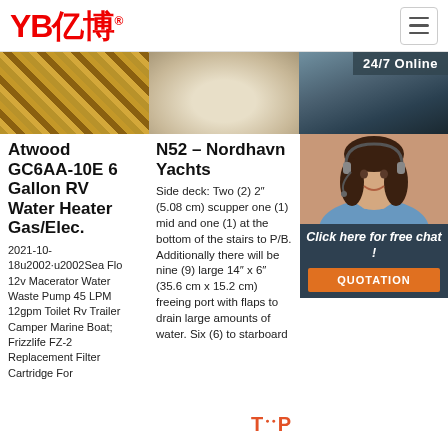[Figure (logo): YB亿博 logo in red with registered trademark symbol, hamburger menu icon on the right]
[Figure (photo): Three side-by-side images: woven material texture, light-colored smooth surface, dark fabric/material with 24/7 Online badge overlay]
Atwood GC6AA-10E 6 Gallon RV Water Heater Gas/Elec.
2021-10-18u2002·u2002Sea Flo 12v Macerator Water Waste Pump 45 LPM 12gpm Toilet Rv Trailer Camper Marine Boat; Frizzlife FZ-2 Replacement Filter Cartridge For
N52 – Nordhavn Yachts
Side deck: Two (2) 2" (5.08 cm) scupper one (1) mid and one (1) at the bottom of the stairs to P/B. Additionally there will be nine (9) large 14" x 6" (35.6 cm x 15.2 cm) freeing port with flaps to drain large amounts of water. Six (6) to starboard
2 In Pu Dis Ho My
: 2 i hos Ent Hose PVC/Aluminum Water/Trash Pump Hose Kit, 2' Clear Suction Hose Coupled M x F WS, 2' Blue Discharge Ho
[Figure (photo): Customer service representative woman with headset smiling, with 24/7 Online badge, Click here for free chat! text and QUOTATION orange button]